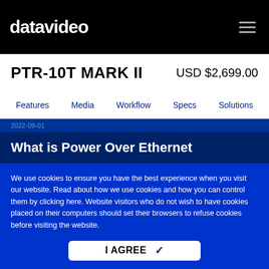datavideo
PTR-10T MARK II   USD $2,699.00
Features  Media  Workflow  Specs  Solutions
2022-09-01
What is Power Over Ethernet
We use cookies to ensure you have the best experience when you visit our website. Read about how we use cookies and how you can control them by clicking here. Website visitors who do not wish to have cookies placed on their computers should set their browsers to refuse cookies before visiting the website.
I AGREE